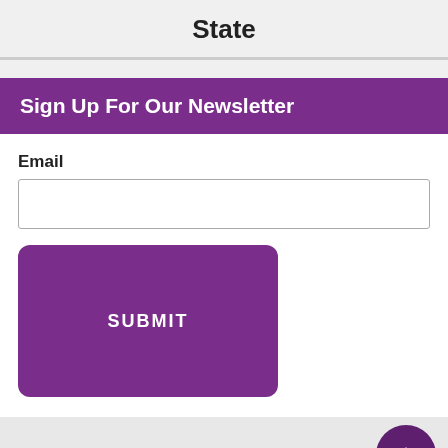State
Sign Up For Our Newsletter
Email
[Figure (infographic): Newsletter email signup form with purple banner header, email text input field, and a purple submit button labeled SUBMIT]
[Figure (infographic): Footer area with gray background, purple circular scroll-to-top button with upward arrow, teal band, and light blue area with white agave plant illustration]